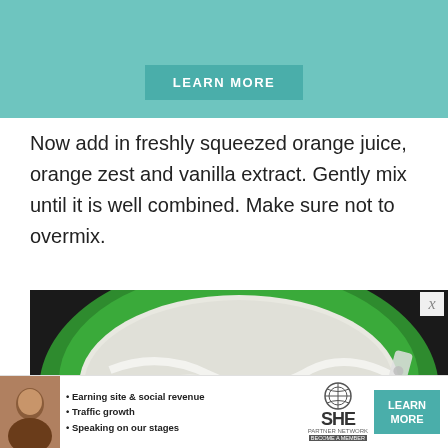[Figure (other): Teal/green banner with a LEARN MORE button]
Now add in freshly squeezed orange juice, orange zest and vanilla extract. Gently mix until it is well combined. Make sure not to overmix.
[Figure (photo): Photo of a green mixing bowl with white cream/whipped mixture, a spoon pouring orange juice, and orange zest on top]
[Figure (other): SHE Partner Network advertisement banner with bullet points: Earning site & social revenue, Traffic growth, Speaking on our stages. Includes SHE logo and LEARN MORE button.]